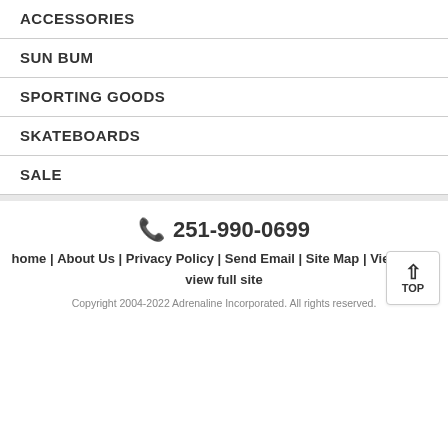ACCESSORIES
SUN BUM
SPORTING GOODS
SKATEBOARDS
SALE
☎ 251-990-0699
home | About Us | Privacy Policy | Send Email | Site Map | View Cart | view full site
Copyright 2004-2022 Adrenaline Incorporated. All rights reserved.